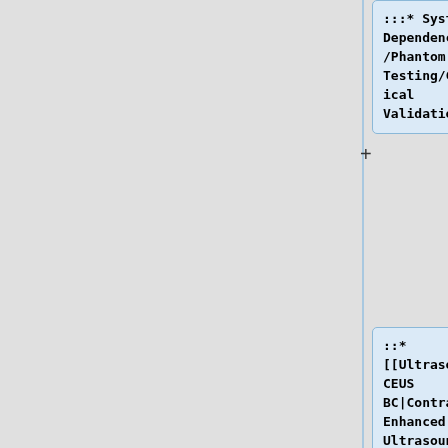[Figure (flowchart): Flowchart/tree diagram showing wiki-style page links for medical imaging committees. Top-right node: ':::* System Dependencies/Phantom Testing/Clinical Validation'. Middle-right node: '::* [[Ultrasound CEUS BC|Contrast Enhanced Ultrasound Biomarker Committee (CEUS BC)]]'. Bottom-left node: '::* [[Ultrasound SWS Biomarker Ctte|Ultraso...' (truncated). Bottom-right node: '::* [[Ultrasound SWS Biomarker Ctte|Ultraso...' (truncated). Plus signs indicate expansion connectors. Left area is grey background with vertical blue line.]